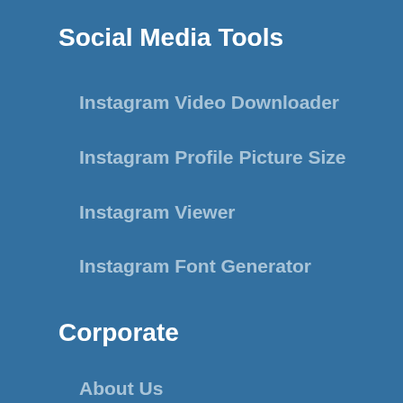Social Media Tools
Instagram Video Downloader
Instagram Profile Picture Size
Instagram Viewer
Instagram Font Generator
Corporate
About Us
Services
Prices
FAQ
How It Works
News & Press